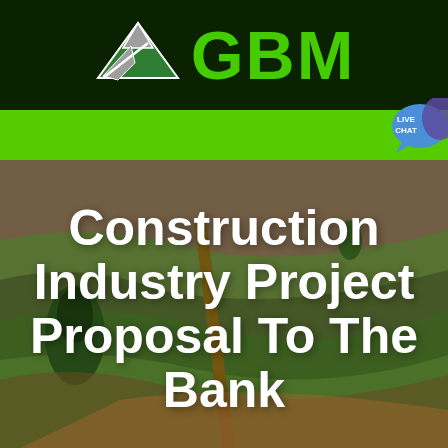[Figure (logo): GBM company logo with mountain/arrow icon on dark green background header bar]
[Figure (screenshot): Green navigation bar with hamburger menu icon and Live Chat speech bubble badge]
Construction Industry Project Proposal To The Bank
Get a Quote
WhatsApp